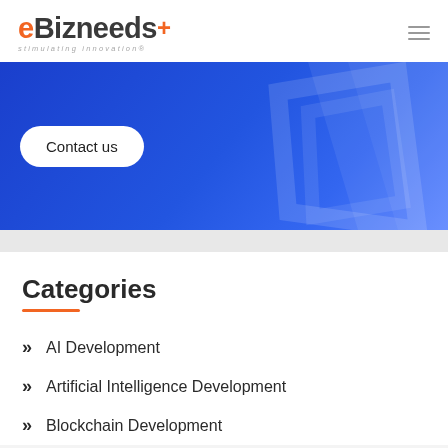[Figure (logo): eBizneeds logo with orange 'e' letter, dark text 'Bizneeds' with orange plus symbol, tagline 'stimulating innovation']
[Figure (screenshot): Blue hero banner with geometric shapes and a 'Contact us' button]
Categories
AI Development
Artificial Intelligence Development
Blockchain Development